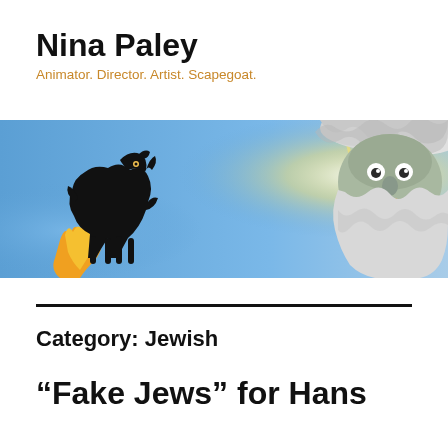Nina Paley
Animator. Director. Artist. Scapegoat.
[Figure (illustration): A wide banner illustration showing a black goat silhouette with yellow flames on the left against a blue sky background, and a large bearded face resembling a deity with white wavy hair/beard, eyes, and radiating golden sunbeams on the right.]
Category: Jewish
“Fake Jews” for Hans